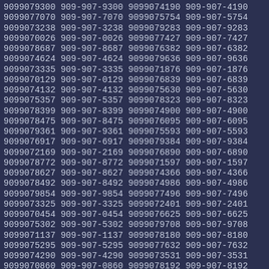9099079300 909-907-9300 9099074190 909-907-4190
9099077070 909-907-7070 9099075754 909-907-5754
9099073238 909-907-3238 9099079283 909-907-9283
9099070026 909-907-0026 9099077427 909-907-7427
9099078687 909-907-8687 9099076382 909-907-6382
9099074624 909-907-4624 9099079636 909-907-9636
9099073335 909-907-3335 9099071876 909-907-1876
9099070129 909-907-0129 9099076839 909-907-6839
9099074132 909-907-4132 9099075630 909-907-5630
9099075357 909-907-5357 9099078323 909-907-8323
9099078399 909-907-8399 9099074900 909-907-4900
9099078475 909-907-8475 9099076095 909-907-6095
9099079361 909-907-9361 9099075593 909-907-5593
9099076917 909-907-6917 9099079384 909-907-9384
9099072169 909-907-2169 9099076890 909-907-6890
9099078772 909-907-8772 9099071597 909-907-1597
9099078627 909-907-8627 9099074366 909-907-4366
9099078492 909-907-8492 9099074986 909-907-4986
9099079854 909-907-9854 9099077496 909-907-7496
9099073325 909-907-3325 9099072401 909-907-2401
9099070454 909-907-0454 9099076625 909-907-6625
9099075302 909-907-5302 9099079708 909-907-9708
9099071137 909-907-1137 9099078180 909-907-8180
9099075295 909-907-5295 9099077632 909-907-7632
9099074290 909-907-4290 9099073531 909-907-3531
9099070860 909-907-0860 9099078192 909-907-8192
9099071101 909-907-1101 9099079145 909-907-9145
9099075443 909-907-5443 9099075734 909-907-5734
9099078234 909-907-8234 9099078505 909-907-8505